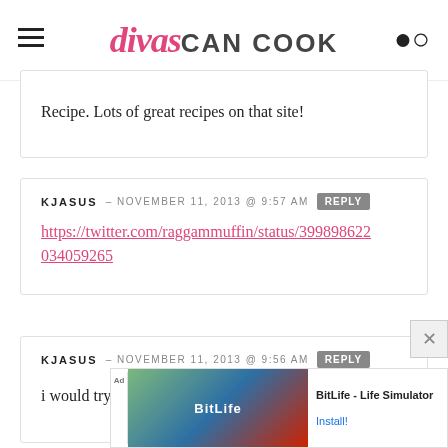divas CAN COOK
Recipe. Lots of great recipes on that site!
KJASUS – NOVEMBER 11, 2013 @ 9:57 AM [REPLY]
https://twitter.com/raggammuffin/status/399898622034059265
KJASUS – NOVEMBER 11, 2013 @ 9:56 AM [REPLY]
i would try the green bean casserole
[Figure (infographic): Ad banner for BitLife - Life Simulator with install button]